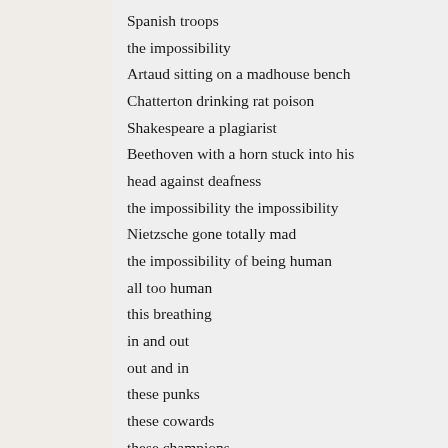Spanish troops
the impossibility
Artaud sitting on a madhouse bench
Chatterton drinking rat poison
Shakespeare a plagiarist
Beethoven with a horn stuck into his
head against deafness
the impossibility the impossibility
Nietzsche gone totally mad
the impossibility of being human
all too human
this breathing
in and out
out and in
these punks
these cowards
these champions